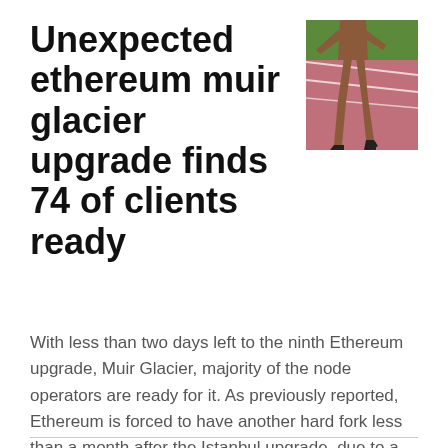Unexpected ethereum muir glacier upgrade finds 74 of clients ready
[Figure (photo): A person in high heels at a running track starting position, viewed from behind/side, on a red track surface with green background]
With less than two days left to the ninth Ethereum upgrade, Muir Glacier, majority of the node operators are ready for it. As previously reported, Ethereum is forced to have another hard fork less than a month after the Istanbul upgrade, due to a mistake, and in order to delay the feature known as the difficulty bomb which slows down blocks, aka Ice Age, for approximately 611 days. Nodes should've been upgraded by December 30 to account for the variable block times, given that even the exact tim...